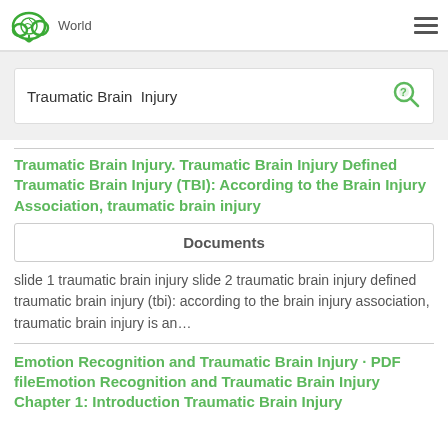World
Traumatic Brain  Injury
Traumatic Brain Injury. Traumatic Brain Injury Defined Traumatic Brain Injury (TBI): According to the Brain Injury Association, traumatic brain injury
Documents
slide 1 traumatic brain injury slide 2 traumatic brain injury defined traumatic brain injury (tbi): according to the brain injury association, traumatic brain injury is an…
Emotion Recognition and Traumatic Brain Injury · PDF fileEmotion Recognition and Traumatic Brain Injury Chapter 1: Introduction Traumatic Brain Injury